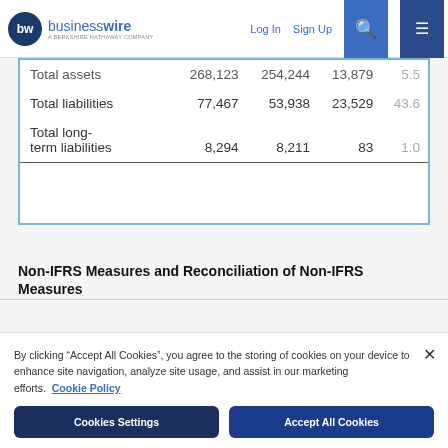businesswire — A BERKSHIRE HATHAWAY COMPANY | Log In | Sign Up
|  |  |  |  |  |
| --- | --- | --- | --- | --- |
| Total assets | 268,123 | 254,244 | 13,879 | 5.5 |
| Total liabilities | 77,467 | 53,938 | 23,529 | 43.6 |
| Total long-term liabilities | 8,294 | 8,211 | 83 | 1.0 |
Non-IFRS Measures and Reconciliation of Non-IFRS Measures
By clicking “Accept All Cookies”, you agree to the storing of cookies on your device to enhance site navigation, analyze site usage, and assist in our marketing efforts. Cookie Policy
Cookies Settings | Accept All Cookies